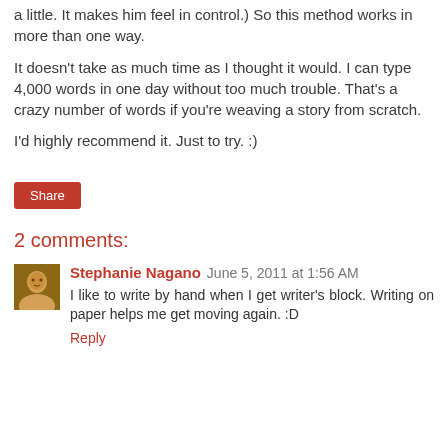a little. It makes him feel in control.) So this method works in more than one way.
It doesn't take as much time as I thought it would. I can type 4,000 words in one day without too much trouble. That's a crazy number of words if you're weaving a story from scratch.
I'd highly recommend it. Just to try. :)
Share
2 comments:
Stephanie Nagano June 5, 2011 at 1:56 AM
I like to write by hand when I get writer's block. Writing on paper helps me get moving again. :D
Reply